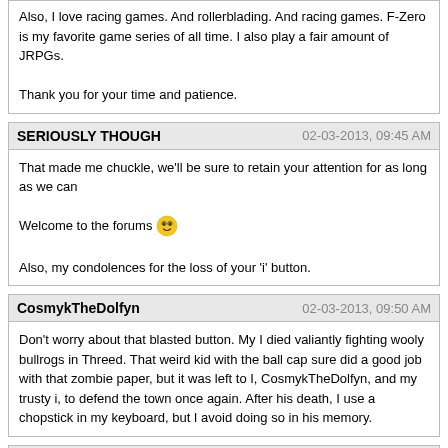Also, I love racing games. And rollerblading. And racing games. F-Zero is my favorite game series of all time. I also play a fair amount of JRPGs.

Thank you for your time and patience.
SERIOUSLY THOUGH	02-03-2013, 09:45 AM
That made me chuckle, we'll be sure to retain your attention for as long as we can

Welcome to the forums 😎

Also, my condolences for the loss of your 'i' button.
CosmykTheDolfyn	02-03-2013, 09:50 AM
Don't worry about that blasted button. My I died valiantly fighting wooly bullrogs in Threed. That weird kid with the ball cap sure did a good job with that zombie paper, but it was left to I, CosmykTheDolfyn, and my trusty i, to defend the town once again. After his death, I use a chopstick in my keyboard, but I avoid doing so in his memory.
Xannidel	02-03-2013, 11:47 AM
Welcome to the forums, SERIOUSLY will direct you to where you dump your belongings and receive your free robes and cup. The ritual begins tonight, there will be punch...Lots and lots of punch.